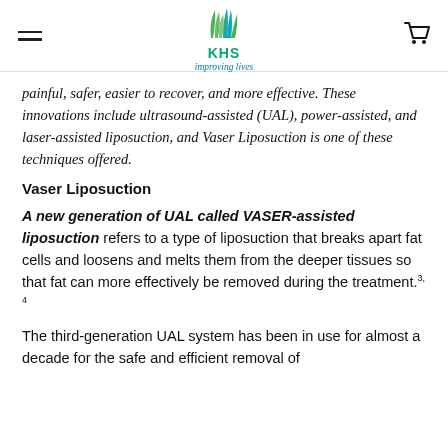KHS improving lives
painful, safer, easier to recover, and more effective. These innovations include ultrasound-assisted (UAL), power-assisted, and laser-assisted liposuction, and Vaser Liposuction is one of these techniques offered.
Vaser Liposuction
A new generation of UAL called VASER-assisted liposuction refers to a type of liposuction that breaks apart fat cells and loosens and melts them from the deeper tissues so that fat can more effectively be removed during the treatment.3, 4
The third-generation UAL system has been in use for almost a decade for the safe and efficient removal of